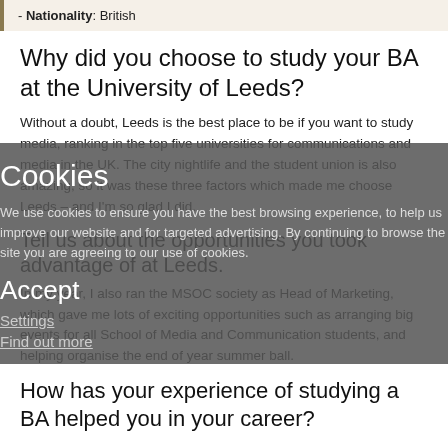- Nationality: British
Why did you choose to study your BA at the University of Leeds?
Without a doubt, Leeds is the best place to be if you want to study media, ranking in the top five universities for communications and media in the UK. The city nightlife and the student union is also amazing, so it was these three factors which made me choose Leeds – and I'm so glad I did.
Tell us about the opportunities you took advantage of at Leeds.
In my year, I also ran the MSOC society as Head of Marketing, which gave me lots of exciting opportunities such as arranging big events for all School of Media and Communication students, and helping organise the end of year summer ball.
How has your experience of studying a BA helped you in your career?
Cookies
We use cookies to ensure you have the best browsing experience, to help us improve our website and for targeted advertising. By continuing to browse the site you are agreeing to our use of cookies.
Accept
Settings
Find out more